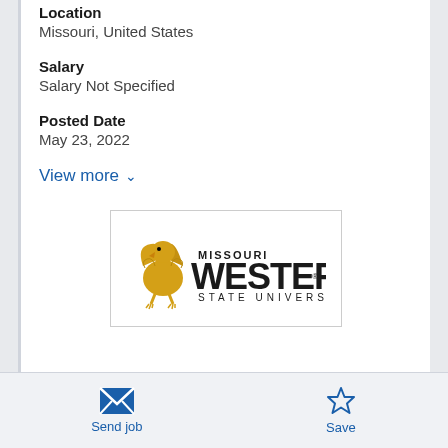Location
Missouri, United States
Salary
Salary Not Specified
Posted Date
May 23, 2022
View more
[Figure (logo): Missouri Western State University logo with griffin mascot in gold and black]
Send job
Save